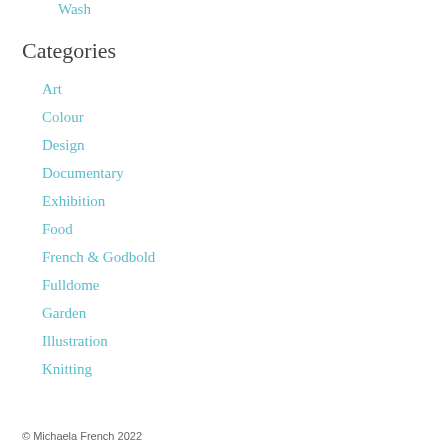Wash
Categories
Art
Colour
Design
Documentary
Exhibition
Food
French & Godbold
Fulldome
Garden
Illustration
Knitting
Light
Moving Image
Research
© Michaela French 2022